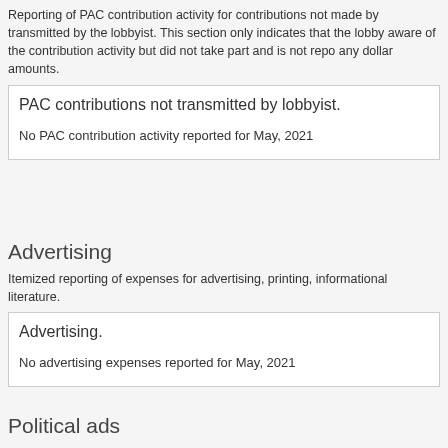Reporting of PAC contribution activity for contributions not made by transmitted by the lobbyist. This section only indicates that the lobby aware of the contribution activity but did not take part and is not repo any dollar amounts.
PAC contributions not transmitted by lobbyist.
No PAC contribution activity reported for May, 2021
Advertising
Itemized reporting of expenses for advertising, printing, informational literature.
Advertising.
No advertising expenses reported for May, 2021
Political ads